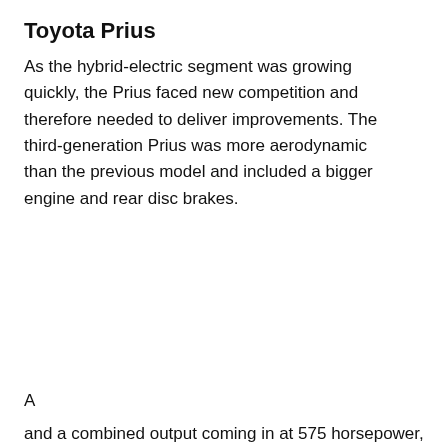Toyota Prius
As the hybrid-electric segment was growing quickly, the Prius faced new competition and therefore needed to deliver improvements. The third-generation Prius was more aerodynamic than the previous model and included a bigger engine and rear disc brakes.
[Figure (infographic): Popup advertisement overlay showing a car service dealership image with two people near a vehicle, branded with Valvoline logo. Contains recommended content for 'Easily Optimizing Your Dealership's Service Lanes' with a red READ NOW button. A close (X) button appears in the top right corner of the popup.]
and a combined output coming in at 575 horsepower,